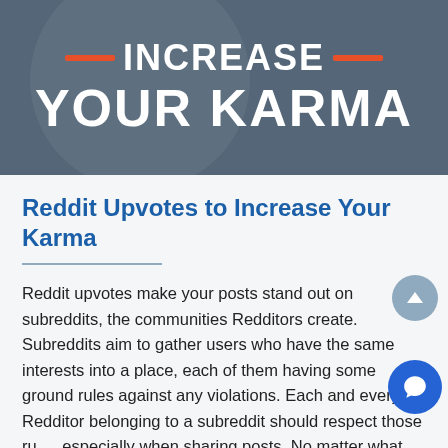[Figure (illustration): Dark slate-blue banner with large white bold text reading 'INCREASE YOUR KARMA' with orange accent bars and a faint circular watermark in the background.]
Reddit Upvotes to Increase Your Karma
Reddit upvotes make your posts stand out on subreddits, the communities Redditors create. Subreddits aim to gather users who have the same interests into a place, each of them having some ground rules against any violations. Each and every Redditor belonging to a subreddit should respect those rules especially when sharing posts. No matter what your interests are, you can find Redditors who have things in